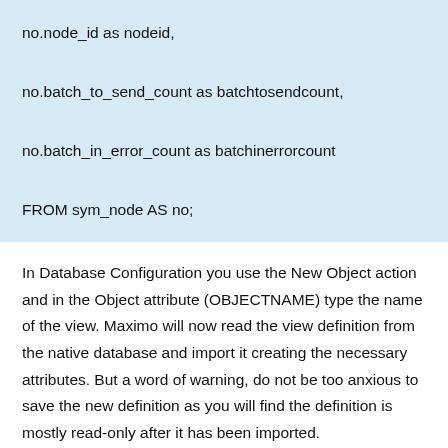no.node_id as nodeid,

no.batch_to_send_count as batchtosendcount,

no.batch_in_error_count as batchinerrorcount

FROM sym_node AS no;
In Database Configuration you use the New Object action and in the Object attribute (OBJECTNAME) type the name of the view. Maximo will now read the view definition from the native database and import it creating the necessary attributes. But a word of warning, do not be too anxious to save the new definition as you will find the definition is mostly read-only after it has been imported.